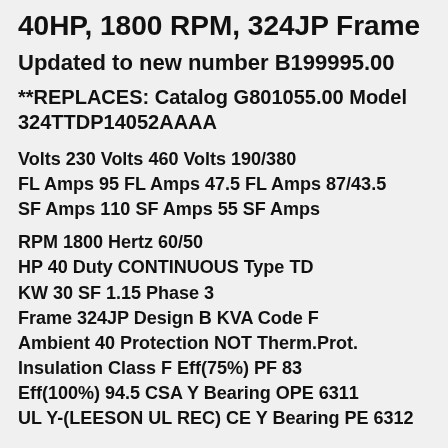40HP, 1800 RPM, 324JP Frame
Updated to new number B199995.00
**REPLACES: Catalog G801055.00 Model 324TTDP14052AAAA
Volts 230 Volts 460 Volts 190/380
FL Amps 95 FL Amps 47.5 FL Amps 87/43.5
SF Amps 110 SF Amps 55 SF Amps
RPM 1800 Hertz 60/50
HP 40 Duty CONTINUOUS Type TD
KW 30 SF 1.15 Phase 3
Frame 324JP Design B KVA Code F
Ambient 40 Protection NOT Therm.Prot.
Insulation Class F Eff(75%) PF 83
Eff(100%) 94.5 CSA Y Bearing OPE 6311
UL Y-(LEESON UL REC) CE Y Bearing PE 6312